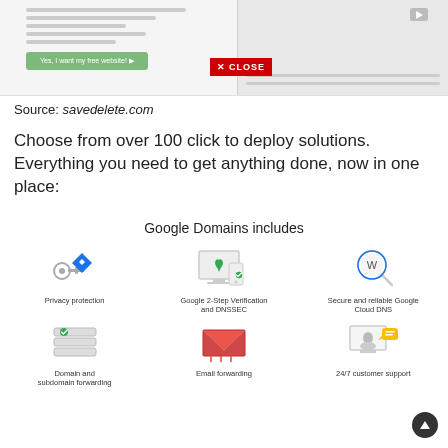[Figure (screenshot): Screenshot of a website popup with a green button labeled 'Yes, I want my free website!' and a red CLOSE button overlay. Right side shows a video panel with a play button.]
Source: savedelete.com
Choose from over 100 click to deploy solutions. Everything you need to get anything done, now in one place:
Google Domains includes
[Figure (infographic): Six icons in a 2-row, 3-column grid showing Google Domains features: Privacy protection, Google 2-Step Verification and DNSSEC, Secure and reliable Google Cloud DNS, Domain and subdomain forwarding, Email forwarding, 24/7 customer support.]